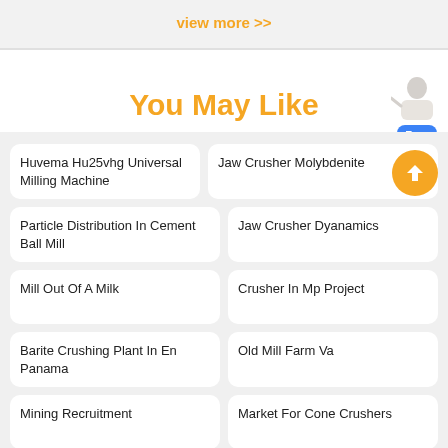view more >>
You May Like
Huvema Hu25vhg Universal Milling Machine
Jaw Crusher Molybdenite
Particle Distribution In Cement Ball Mill
Jaw Crusher Dyanamics
Mill Out Of A Milk
Crusher In Mp Project
Barite Crushing Plant In En Panama
Old Mill Farm Va
Mining Recruitment
Market For Cone Crushers